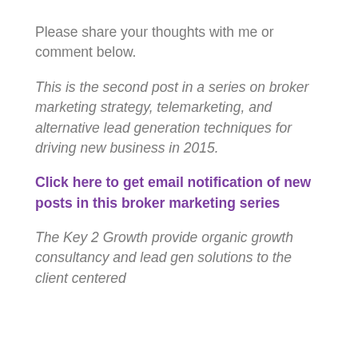Please share your thoughts with me or comment below.
This is the second post in a series on broker marketing strategy, telemarketing, and alternative lead generation techniques for driving new business in 2015.
Click here to get email notification of new posts in this broker marketing series
The Key 2 Growth provide organic growth consultancy and lead gen solutions to the client centered